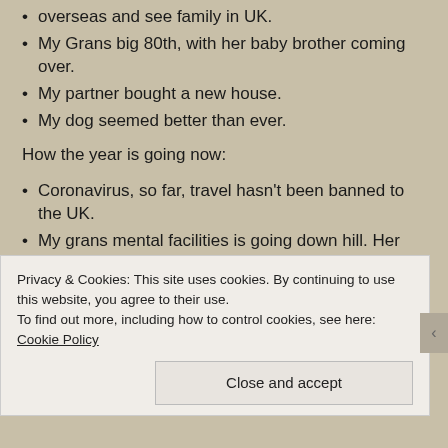overseas and see family in UK.
My Grans big 80th, with her baby brother coming over.
My partner bought a new house.
My dog seemed better than ever.
How the year is going now:
Coronavirus, so far, travel hasn't been banned to the UK.
My grans mental facilities is going down hill. Her brother who hasn't seen her in about 5-10 years could tell on the first day. She keeps inviting people to her birthday.
Privacy & Cookies: This site uses cookies. By continuing to use this website, you agree to their use.
To find out more, including how to control cookies, see here: Cookie Policy
Close and accept